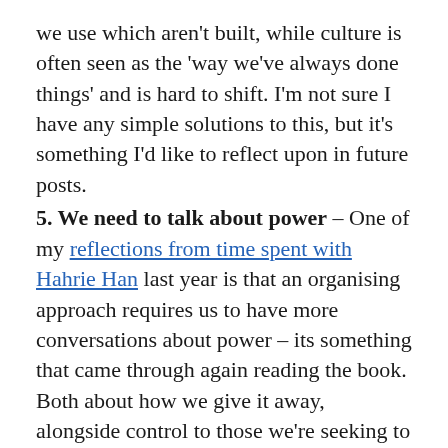we use which aren't built, while culture is often seen as the 'way we've always done things' and is hard to shift. I'm not sure I have any simple solutions to this, but it's something I'd like to reflect upon in future posts.
5. We need to talk about power – One of my reflections from time spent with Hahrie Han last year is that an organising approach requires us to have more conversations about power – its something that came through again reading the book. Both about how we give it away, alongside control to those we're seeking to empower, but also how we ensure we're directing our campaigns to focus on where the power is. As Han says 'movements build power not by selling people products they